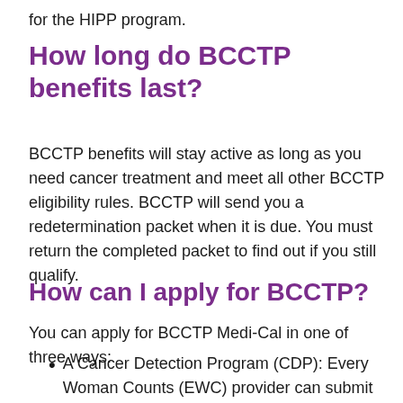for the HIPP program.
How long do BCCTP benefits last?
BCCTP benefits will stay active as long as you need cancer treatment and meet all other BCCTP eligibility rules. BCCTP will send you a redetermination packet when it is due. You must return the completed packet to find out if you still qualify.
How can I apply for BCCTP?
You can apply for BCCTP Medi-Cal in one of three ways:
A Cancer Detection Program (CDP): Every Woman Counts (EWC) provider can submit the application for you. To find an EWC provider visit the Every Woman Counts page.